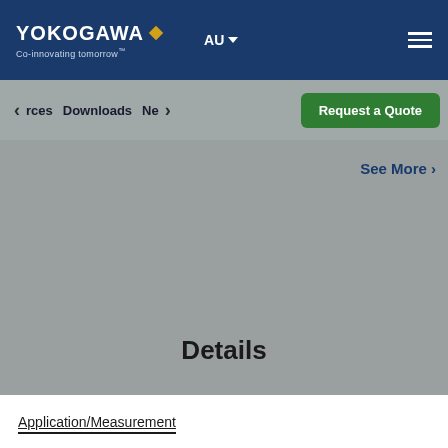YOKOGAWA Co-innovating tomorrow AU
rces  Downloads  Ne
Request a Quote
See More >
Details
Application/Measurement